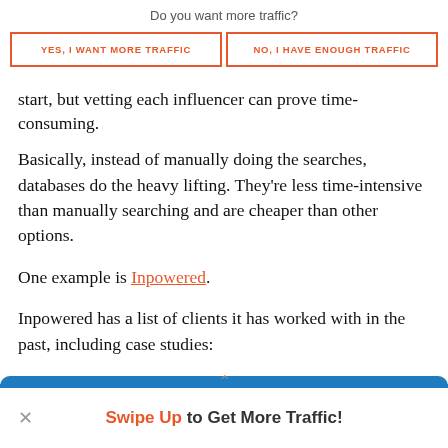Do you want more traffic?
YES, I WANT MORE TRAFFIC
NO, I HAVE ENOUGH TRAFFIC
start, but vetting each influencer can prove time-consuming.
Basically, instead of manually doing the searches, databases do the heavy lifting. They're less time-intensive than manually searching and are cheaper than other options.
One example is Inpowered.
Inpowered has a list of clients it has worked with in the past, including case studies:
Swipe Up to Get More Traffic!